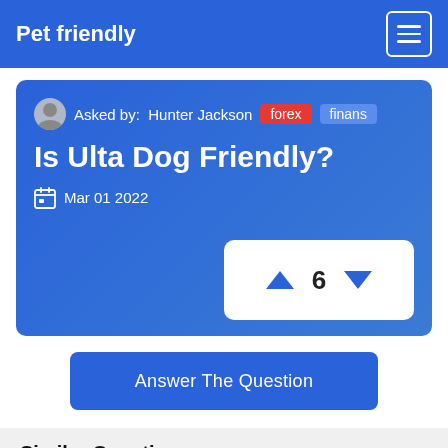Pet friendly
Asked by: Hunter Jackson forex finans
Is Ulta Dog Friendly?
Mar 01 2022
▲ 6 ▼
Answer The Question
Similar Questions
Can you take a dog into Ult